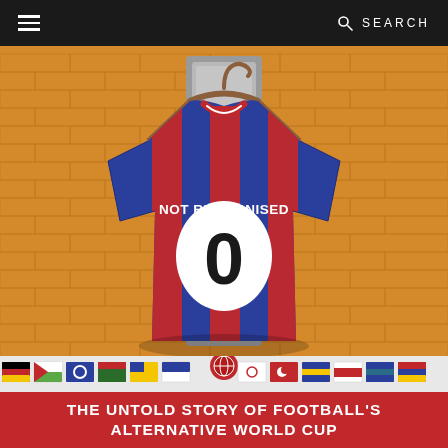≡  SEARCH
[Figure (illustration): Illustration of a blue and red striped football jersey hanging on a wooden hanger in a locker, with the text 'NOT RECOGNISED' arched above the number '0' on the back of the shirt. The background is an orange brick wall texture. Below the main image is a row of small national flags from unrecognised or alternative nations, with a globe logo in the center.]
THE UNTOLD STORY OF FOOTBALL'S ALTERNATIVE WORLD CUP